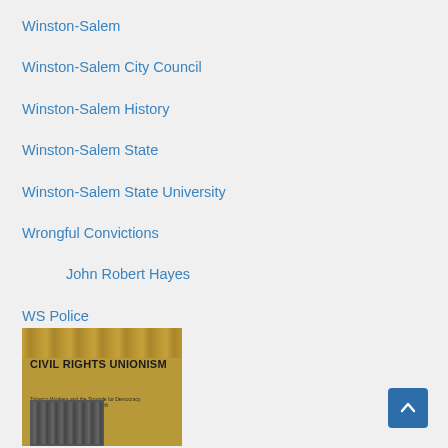Winston-Salem
Winston-Salem City Council
Winston-Salem History
Winston-Salem State
Winston-Salem State University
Wrongful Convictions
John Robert Hayes
WS Police
WSFD
Year In Review
[Figure (photo): Book cover of 'Civil Rights Unionism: Tobacco Workers and the Struggle for Democracy in the Mid-Twentieth-Century South' showing a group of people at the top and a storefront photo at the bottom, on a golden-brown background.]